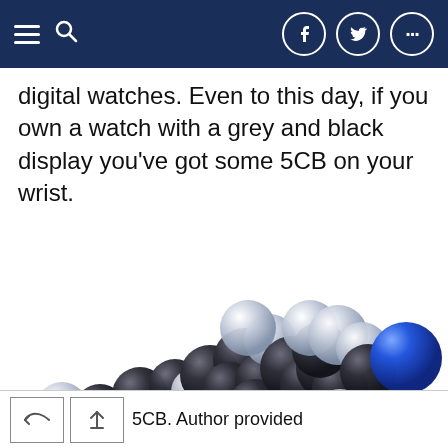Navigation header with hamburger menu, search icon, and social media buttons (Facebook, Twitter, more)
digital watches. Even to this day, if you own a watch with a grey and black display you've got some 5CB on your wrist.
[Figure (illustration): 3D space-fill molecular model of 5CB (4-Cyano-4'-pentylbiphenyl) showing dark carbon atoms forming two phenyl rings with a pentyl chain, white/grey hydrogen atoms, and a bright blue nitrogen atom at the cyano end.]
5CB. Author provided